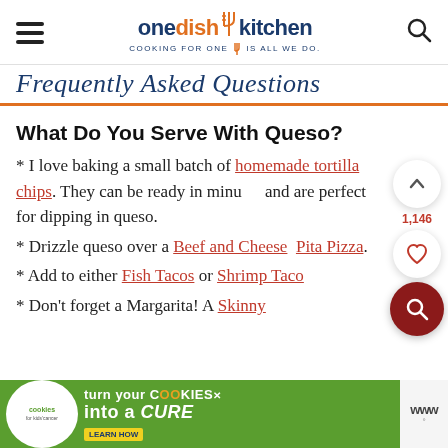one dish kitchen — COOKING FOR ONE | IS ALL WE DO.
Frequently Asked Questions
What Do You Serve With Queso?
* I love baking a small batch of homemade tortilla chips. They can be ready in minutes and are perfect for dipping in queso.
* Drizzle queso over a Beef and Cheese Pita Pizza.
* Add to either Fish Tacos or Shrimp Tacos
* Don't forget a Margarita! A Skinny
[Figure (other): Advertisement banner: cookies for kids cancer — turn your COOKIES into a CURE LEARN HOW]